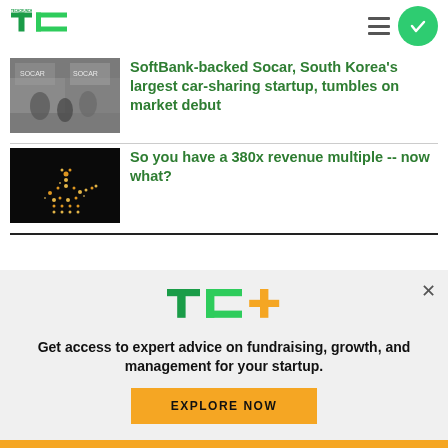TechCrunch
SoftBank-backed Socar, South Korea's largest car-sharing startup, tumbles on market debut
So you have a 380x revenue multiple -- now what?
Get access to expert advice on fundraising, growth, and management for your startup.
EXPLORE NOW